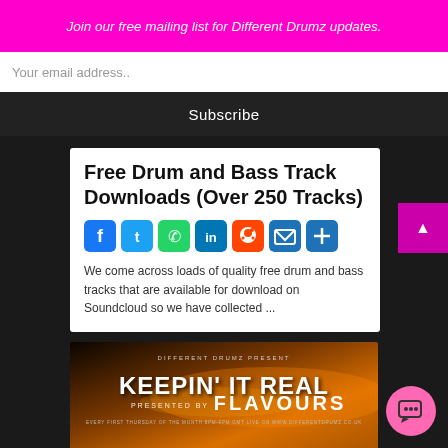Join our free mailing list for Different Drumz updates.
Your email address..
Subscribe
Free Drum and Bass Track Downloads (Over 250 Tracks)
[Figure (infographic): Social share icons row: Facebook, Twitter, WhatsApp, LinkedIn, Reddit, Email, Share]
We come across loads of quality free drum and bass tracks that are available for download on Soundcloud so we have collected ...
[Figure (photo): Keepin' It Real presented by Flavours promotional image with orange/dark sunset background. Text reads: DIFFERENT DRUMZ PRESENT, KEEPIN' IT REAL, PRESENTED BY FLAVOURS, EVERY FIRST THURSDAY OF THE MONTH 8PM-8PM GMT LIVE ON WWW.DIFFERENTDRUMZ.CO.UK]
Flavours Presents: Keepin' It Real